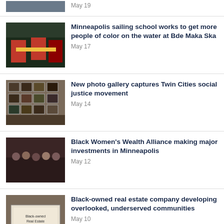[Figure (photo): Partial top article photo (cropped cars/street scene)]
May 19
[Figure (photo): Group of people in life vests holding a green banner at Bde Maka Ska]
Minneapolis sailing school works to get more people of color on the water at Bde Maka Ska
May 17
[Figure (photo): Photo gallery wall with framed photographs]
New photo gallery captures Twin Cities social justice movement
May 14
[Figure (photo): Group of Black women seated at a conference table]
Black Women's Wealth Alliance making major investments in Minneapolis
May 12
[Figure (photo): Billboard sign for Black-owned real estate company]
Black-owned real estate company developing overlooked, underserved communities
May 10
[Figure (photo): Portrait of Black woman nurse at Gillette Children's Hospital]
First Black nurse at Gillette Children's Hospital continues to break barriers, change lives
May 7